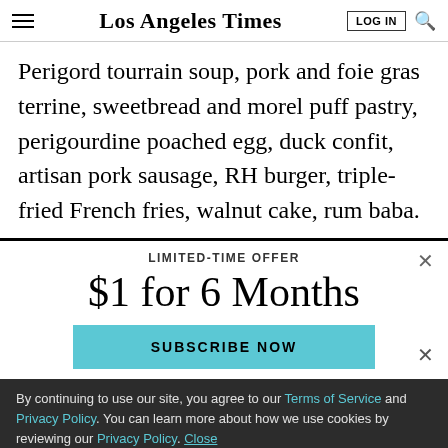Los Angeles Times
Perigord tourrain soup, pork and foie gras terrine, sweetbread and morel puff pastry, perigourdine poached egg, duck confit, artisan pork sausage, RH burger, triple-fried French fries, walnut cake, rum baba.
LIMITED-TIME OFFER
$1 for 6 Months
SUBSCRIBE NOW
By continuing to use our site, you agree to our Terms of Service and Privacy Policy. You can learn more about how we use cookies by reviewing our Privacy Policy. Close